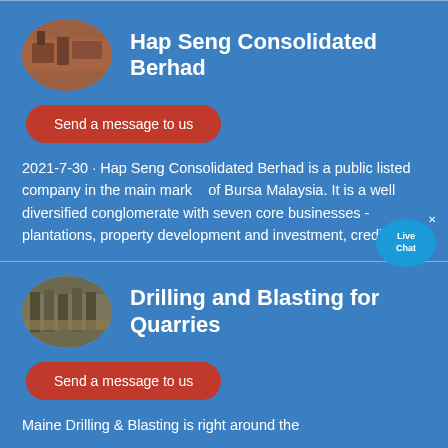[Figure (photo): Oval thumbnail image of industrial/quarry equipment for Hap Seng Consolidated Berhad]
Hap Seng Consolidated Berhad
Send a message to us
2021-7-30 · Hap Seng Consolidated Berhad is a public listed company in the main market of Bursa Malaysia. It is a well diversified conglomerate with seven core businesses - plantations, property development and investment, credit ...
[Figure (photo): Oval thumbnail image of industrial/quarry equipment for Drilling and Blasting for Quarries]
Drilling and Blasting for Quarries
Send a message to us
Maine Drilling & Blasting is right around the